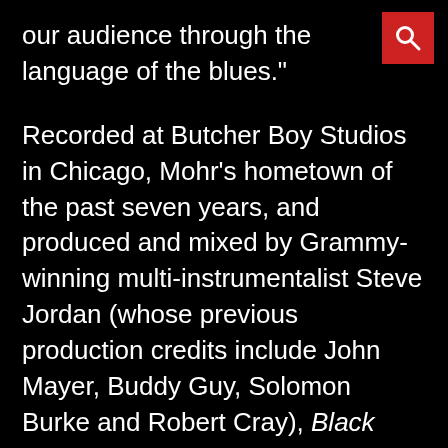our audience through the language of the blues."
Recorded at Butcher Boy Studios in Chicago, Mohr's hometown of the past seven years, and produced and mixed by Grammy-winning multi-instrumentalist Steve Jordan (whose previous production credits include John Mayer, Buddy Guy, Solomon Burke and Robert Cray), Black Beehive arrives a quarter-century after the group's debut album, Another Mayberry, first put Big Head Todd & the Monsters on the map beyond their home base. Today, the original trio—Mohr on guitar and vocals,
[Figure (other): Red square search icon with a white magnifying glass symbol in the top-right corner of the page]